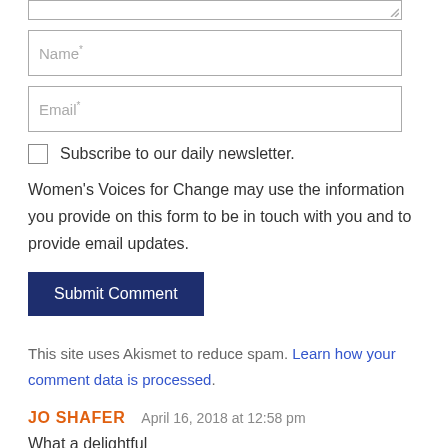[textarea top partial]
Name*
Email*
Subscribe to our daily newsletter.
Women's Voices for Change may use the information you provide on this form to be in touch with you and to provide email updates.
Submit Comment
This site uses Akismet to reduce spam. Learn how your comment data is processed.
JO SHAFER   April 16, 2018 at 12:58 pm
What a delightful…